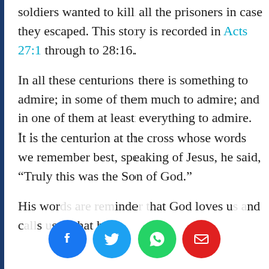soldiers wanted to kill all the prisoners in case they escaped. This story is recorded in Acts 27:1 through to 28:16.
In all these centurions there is something to admire; in some of them much to admire; and in one of them at least everything to admire. It is the centurion at the cross whose words we remember best, speaking of Jesus, he said, “Truly this was the Son of God.”
His words are a reminder that God loves us and calls us to trust that he